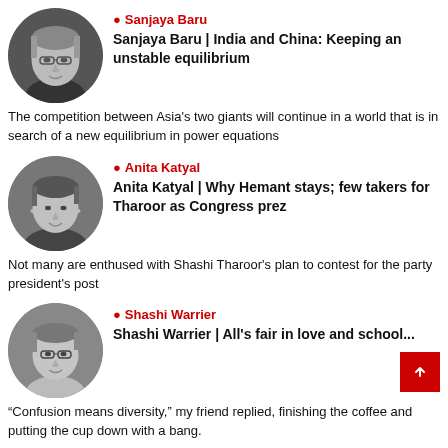[Figure (photo): Black and white circular portrait photo of Sanjaya Baru, an older man with glasses]
Sanjaya Baru
Sanjaya Baru | India and China: Keeping an unstable equilibrium
The competition between Asia's two giants will continue in a world that is in search of a new equilibrium in power equations
[Figure (photo): Black and white circular portrait photo of Anita Katyal, a woman smiling]
Anita Katyal
Anita Katyal | Why Hemant stays; few takers for Tharoor as Congress prez
Not many are enthused with Shashi Tharoor's plan to contest for the party president's post
[Figure (photo): Black and white circular portrait photo of Shashi Warrier, a man with glasses]
Shashi Warrier
Shashi Warrier | All's fair in love and school...
“Confusion means diversity,” my friend replied, finishing the coffee and putting the cup down with a bang.